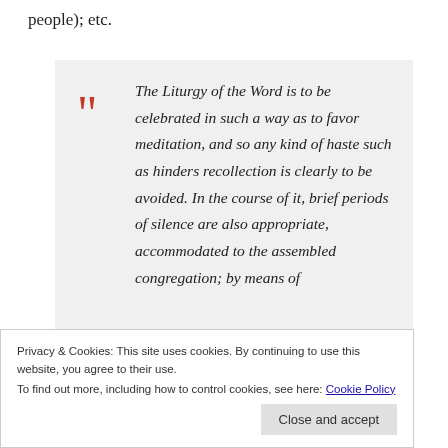people); etc.
The Liturgy of the Word is to be celebrated in such a way as to favor meditation, and so any kind of haste such as hinders recollection is clearly to be avoided. In the course of it, brief periods of silence are also appropriate, accommodated to the assembled congregation; by means of
Privacy & Cookies: This site uses cookies. By continuing to use this website, you agree to their use.
To find out more, including how to control cookies, see here: Cookie Policy
Close and accept
may be appropriate to observe such